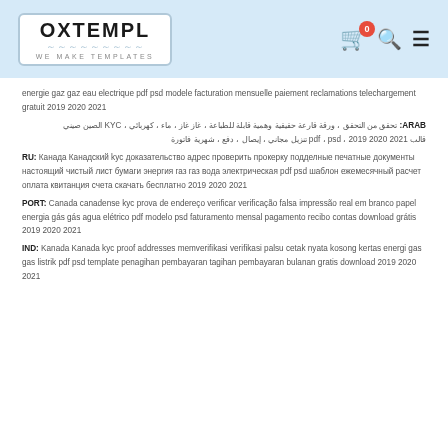OXTEMPL WE MAKE TEMPLATES
energie gaz gaz eau electrique pdf psd modele facturation mensuelle paiement reclamations telechargement gratuit 2019 2020 2021
ARAB: تحقق من التحقق ، ورقة قارعة حقيقية وهمية قابلة للطباعة ، غاز غاز ، ماء ، كهربائي ، KYC الصين صيني قالب pdf ، psd ، 2019 2020 2021 تنزيل مجاني ، إيصال ، دفع ، شهرية فاتورة
RU: Канада Канадский kyc доказательство адрес проверить прокерку подделные печатные документы настоящий чистый лист бумаги энергия газ газ вода электрическая pdf psd шаблон ежемесячный расчет оплата квитанция счета скачать бесплатно 2019 2020 2021
PORT: Canada canadense kyc prova de endereço verificar verificação falsa impressão real em branco papel energia gás gás agua elétrico pdf modelo psd faturamento mensal pagamento recibo contas download grátis 2019 2020 2021
IND: Kanada Kanada kyc proof addresses memverifikasi verifikasi palsu cetak nyata kosong kertas energi gas gas listrik pdf psd template penagihan pembayaran tagihan pembayaran bulanan gratis download 2019 2020 2021